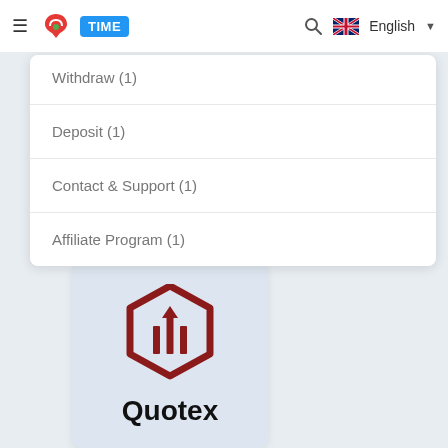≡ TIME  🔍 English ▾
Withdraw (1)
Deposit (1)
Contact & Support (1)
Affiliate Program (1)
[Figure (logo): Quotex logo — dark red hexagon outline with bar-chart style upward arrows inside, with the word Quotex in bold black below, on a light blue-grey background card]